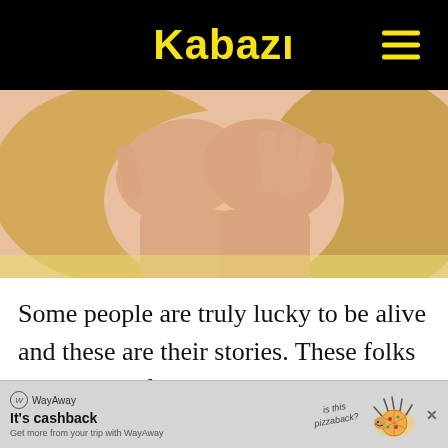Kabazi
[Figure (photo): Close-up photo of a blonde woman covering her face with both hands, wearing a light yellow top]
Some people are truly lucky to be alive and these are their stories. These folks share the unforgettably bone-chilling moment that shook
[Figure (other): WayAway advertisement banner: It's cashback - Get more from your trip with WayAway, with a pizza hedgehog illustration]